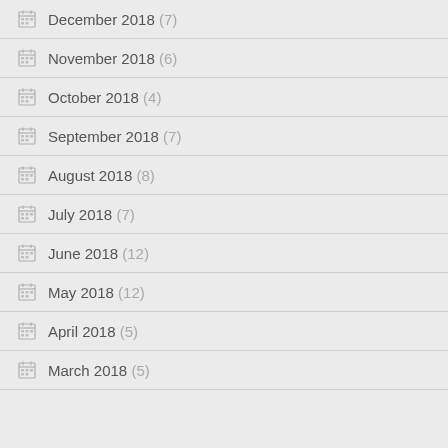December 2018 (7)
November 2018 (6)
October 2018 (4)
September 2018 (7)
August 2018 (8)
July 2018 (7)
June 2018 (12)
May 2018 (12)
April 2018 (5)
March 2018 (5)